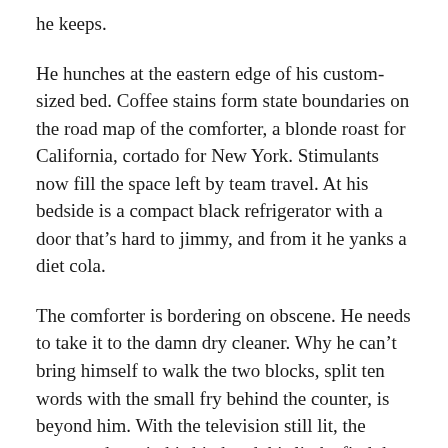he keeps.
He hunches at the eastern edge of his custom-sized bed. Coffee stains form state boundaries on the road map of the comforter, a blonde roast for California, cortado for New York. Stimulants now fill the space left by team travel. At his bedside is a compact black refrigerator with a door that’s hard to jimmy, and from it he yanks a diet cola.
The comforter is bordering on obscene. He needs to take it to the damn dry cleaner. Why he can’t bring himself to walk the two blocks, split ten words with the small fry behind the counter, is beyond him. With the television still lit, the unopened can in his big hand, his limbs find the corners of the mattress. The chemical clean will wait. The only errand he can think about performing is going back to sleep.